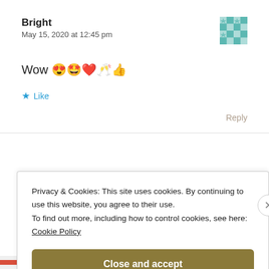Bright
May 15, 2020 at 12:45 pm
Wow 😍🤩❤️🥂👍
★ Like
Reply
Privacy & Cookies: This site uses cookies. By continuing to use this website, you agree to their use.
To find out more, including how to control cookies, see here:
Cookie Policy
Close and accept